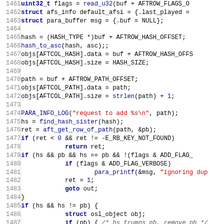[Figure (screenshot): Source code listing (C language) showing lines 1461-1492, with syntax highlighting: keywords in dark blue bold, function names in blue, string literals in red, numbers in blue, comments in gray italic. Line numbers shown in gray on the left. Code relates to an audio file table row addition function.]